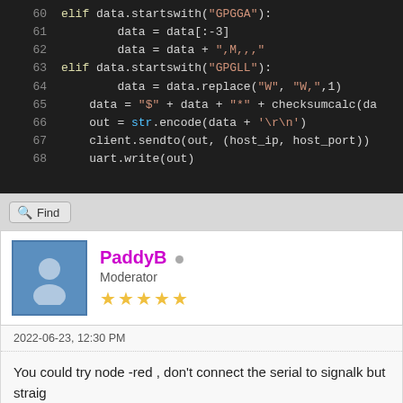[Figure (screenshot): Code editor screenshot showing Python code lines 60-68 with syntax highlighting on dark background. Lines include elif data.startswith('GPGGA'), data = data[:-3], data = data + ',M,,,', elif data.startswith('GPGLL'), data = data.replace('W', 'W,', 1), data = '$' + data + '*' + checksumcalc(da..., out = str.encode(data + '\r\n'), client.sendto(out, (host_ip, host_port)), uart.write(out)]
Find
PaddyB  Moderator ★★★★★
2022-06-23, 12:30 PM
You could try node -red , don't connect the serial to signalk but straig...
Find